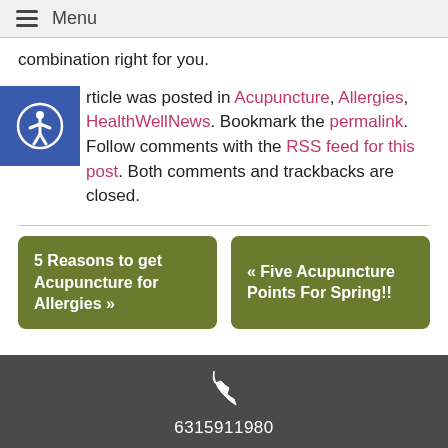Menu
combination right for you.
This article was posted in Acupuncture, Allergies, HealthWellNews. Bookmark the permalink. Follow comments with the RSS feed for this post. Both comments and trackbacks are closed.
5 Reasons to get Acupuncture for Allergies »
« Five Acupuncture Points For Spring!!
6315911980